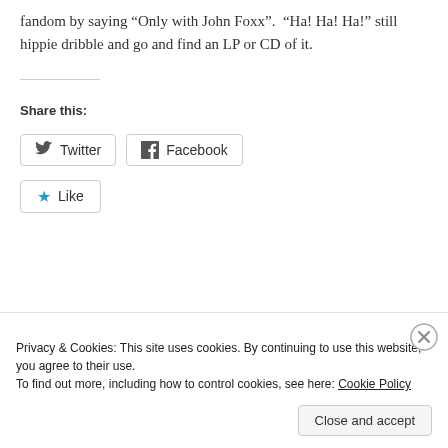fandom by saying “Only with John Foxx”.  “Ha! Ha! Ha!” still hippie dribble and go and find an LP or CD of it.
Share this:
[Figure (screenshot): Twitter and Facebook share buttons, and a Like button with a blue star icon]
Privacy & Cookies: This site uses cookies. By continuing to use this website, you agree to their use.
To find out more, including how to control cookies, see here: Cookie Policy
Close and accept